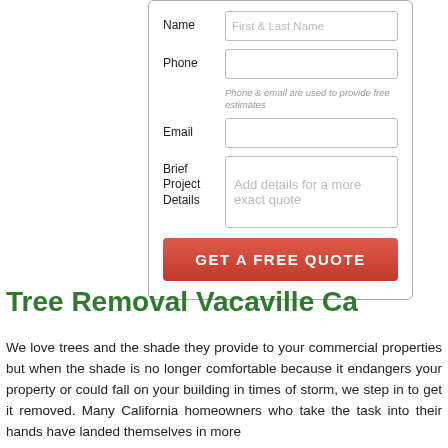[Figure (screenshot): Web form with fields: Name (placeholder 'First & Last Name'), Phone (with hint 'Phone & email are used to provide free estimates'), Email, Brief Project Details (textarea with placeholder 'Add details for a more exact quote'), and a red 'GET A FREE QUOTE' button.]
Tree Removal Vacaville Ca
We love trees and the shade they provide to your commercial properties but when the shade is no longer comfortable because it endangers your property or could fall on your building in times of storm, we step in to get it removed. Many California homeowners who take the task into their hands have landed themselves in more